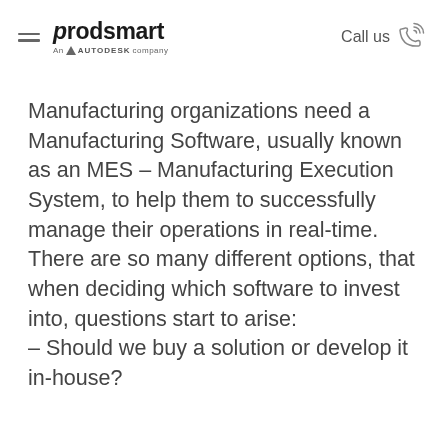prodsmart — An AUTODESK company | Call us
Manufacturing organizations need a Manufacturing Software, usually known as an MES – Manufacturing Execution System, to help them to successfully manage their operations in real-time.
There are so many different options, that when deciding which software to invest into, questions start to arise:
– Should we buy a solution or develop it in-house?